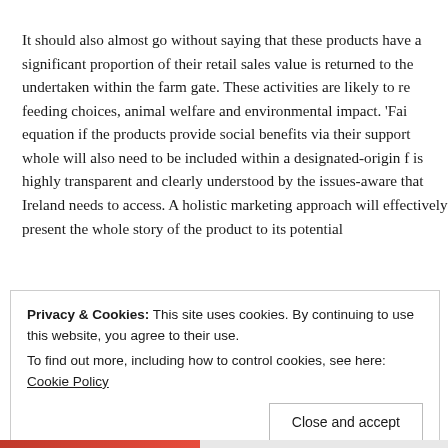It should also almost go without saying that these products have a significant proportion of their retail sales value is returned to the undertaken within the farm gate. These activities are likely to re feeding choices, animal welfare and environmental impact. 'Fai equation if the products provide social benefits via their support whole will also need to be included within a designated-origin f is highly transparent and clearly understood by the issues-aware that Ireland needs to access. A holistic marketing approach will effectively present the whole story of the product to its potential
Privacy & Cookies: This site uses cookies. By continuing to use this website, you agree to their use.
To find out more, including how to control cookies, see here: Cookie Policy